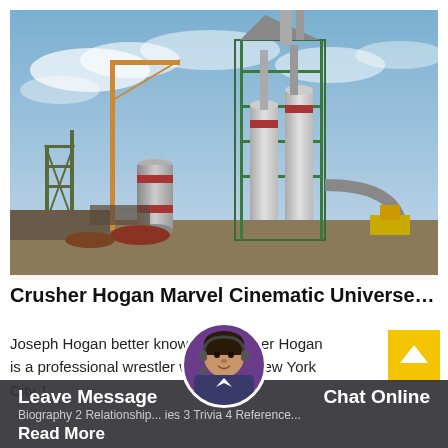[Figure (photo): Industrial plant/facility with tall metal silos, pipes, towers, cranes, and scaffolding structures against a cloudy sky]
Crusher Hogan Marvel Cinematic Universe Wi...
Joseph Hogan better known as Crusher Hogan is a professional wrestler who f... on New York City 1
Biography 2 Relationship... ies 3 Trivia 4 Reference...
Leave Message
Chat Online
Read More